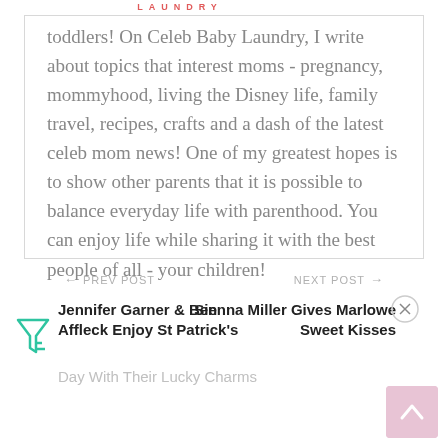LAUNDRY
toddlers! On Celeb Baby Laundry, I write about topics that interest moms - pregnancy, mommyhood, living the Disney life, family travel, recipes, crafts and a dash of the latest celeb mom news! One of my greatest hopes is to show other parents that it is possible to balance everyday life with parenthood. You can enjoy life while sharing it with the best people of all - your children!
← PREV POST
NEXT POST →
Jennifer Garner & Ben Affleck Enjoy St Patrick's Day With Their Lucky Charms
Sienna Miller Gives Marlowe Sweet Kisses